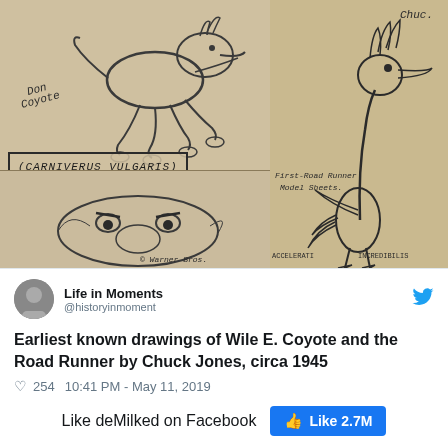[Figure (illustration): Vintage pencil sketches on aged paper showing early drawings of Wile E. Coyote (labeled 'Don Coyote' and 'Carniverus Vulgaris') and the Road Runner (labeled 'First Road Runner Model Sheets', 'Accelerati Incredibus'). Copyright Warner Bros. Four panel layout: top-left shows Wile E. Coyote running, bottom-left shows a close-up face of Wile E. Coyote, right panel shows full-length Road Runner character.]
Life in Moments @historyinmoment
Earliest known drawings of Wile E. Coyote and the Road Runner by Chuck Jones, circa 1945
254  10:41 PM - May 11, 2019
Like deMilked on Facebook  Like 2.7M